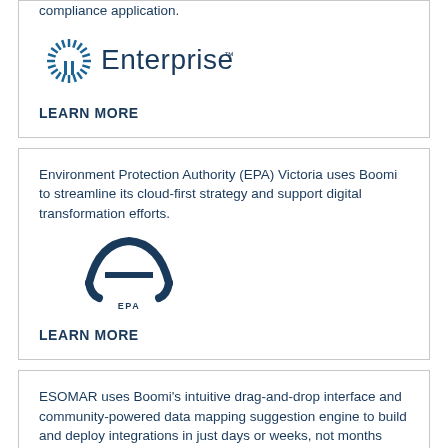compliance application.
[Figure (logo): Enterprise logo with sunburst icon and 'Enterprise' text in navy blue]
LEARN MORE
Environment Protection Authority (EPA) Victoria uses Boomi to streamline its cloud-first strategy and support digital transformation efforts.
[Figure (logo): EPA Victoria logo: circular arc design with 'EPA VICTORIA' text in navy blue]
LEARN MORE
ESOMAR uses Boomi's intuitive drag-and-drop interface and community-powered data mapping suggestion engine to build and deploy integrations in just days or weeks, not months